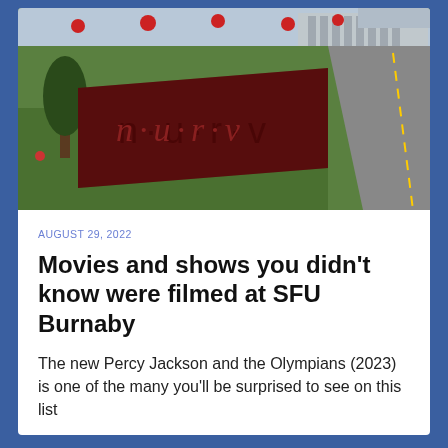[Figure (photo): Outdoor photo of SFU Burnaby campus showing a large dark red trapezoidal sign with 'n·u·r·v' letters carved into it, surrounded by green lawn, trees, a road, and campus buildings in the background with red decorative elements.]
AUGUST 29, 2022
Movies and shows you didn't know were filmed at SFU Burnaby
The new Percy Jackson and the Olympians (2023) is one of the many you'll be surprised to see on this list